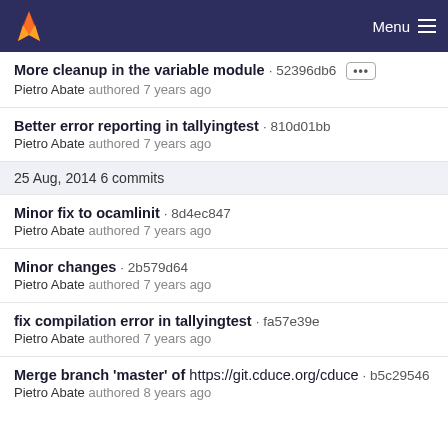Menu
More cleanup in the variable module · 52396db6
Pietro Abate authored 7 years ago
Better error reporting in tallyingtest · 810d01bb
Pietro Abate authored 7 years ago
25 Aug, 2014 6 commits
Minor fix to ocamlinit · 8d4ec847
Pietro Abate authored 7 years ago
Minor changes · 2b579d64
Pietro Abate authored 7 years ago
fix compilation error in tallyingtest · fa57e39e
Pietro Abate authored 7 years ago
Merge branch 'master' of https://git.cduce.org/cduce · b5c29546
Pietro Abate authored 8 years ago